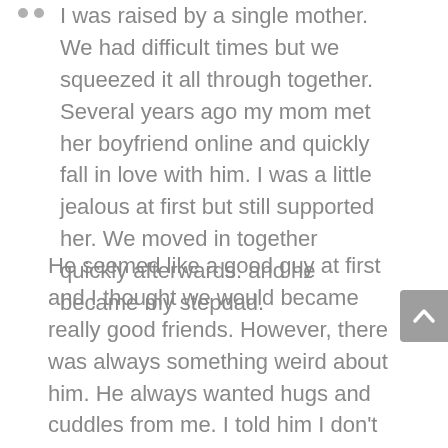I was raised by a single mother. We had difficult times but we squeezed it all through together. Several years ago my mom met her boyfriend online and quickly fall in love with him. I was a little jealous at first but still supported her. We moved in together quickly afterwards. and he became my stepdad.
He seemed like a good guy at first and I thought we would became really good friends. However, there was always something weird about him. He always wanted hugs and cuddles from me. I told him I don't like being too closed up with someone other than my mom. He said I am just not used to being with men. He liked touching and brushing my hair and comment on how beautiful I am. He kept wanting to give me sex lectures and told me how to get prepared so my first sex would be enjoyable.